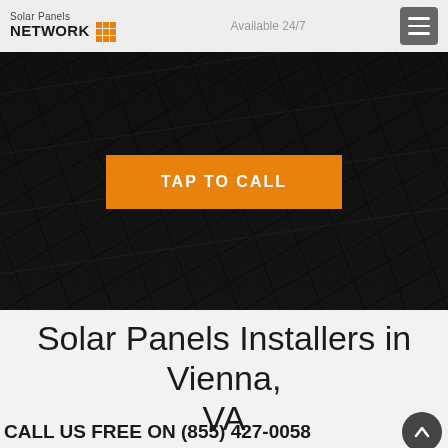Solar Panels NETWORK | Available 24/7
[Figure (screenshot): Dark background hero image showing solar panels close-up at an angle, with an orange TAP TO CALL button overlaid in the center]
Solar Panels Installers in Vienna, VA
CALL US FREE ON (855) 427-0058